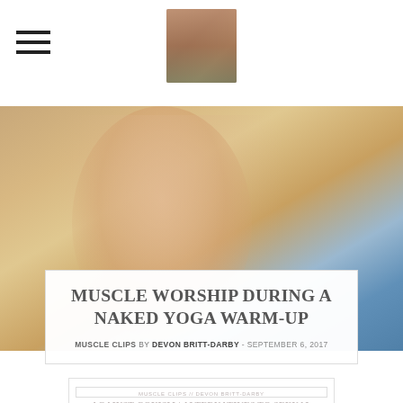Navigation header with hamburger menu and logo image
[Figure (photo): Blurred close-up photo of a muscular male torso, gym/yoga setting background]
MUSCLE WORSHIP DURING A NAKED YOGA WARM-UP
MUSCLE CLIPS by DEVON BRITT-DARBY - SEPTEMBER 6, 2017
MUSCLE CLIPS // DEVON BRITT-DARBY
AGAINST GOYISM | ALTERNATIVES TO SEXUAL CONFORMITY